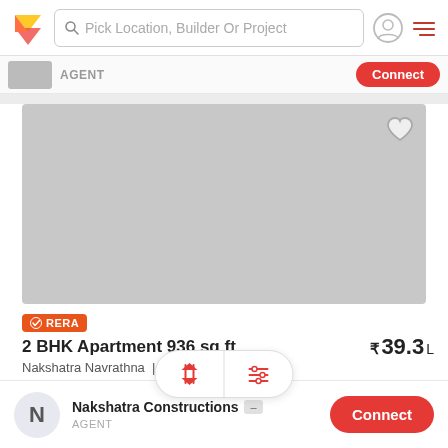Pick Location, Builder Or Project
AGENT
[Figure (screenshot): Grey placeholder property listing image with heart/favourite icon in top right corner]
RERA
2 BHK Apartment 936 sq ft
₹39.3 L
Nakshatra Navrathna  |  W... hennai
2 BHK Under Construction ... erty for Sale in W... More
[Figure (infographic): Sort and filter pill overlay with up-down arrows and slider icon]
Nakshatra Constructions
AGENT
Connect